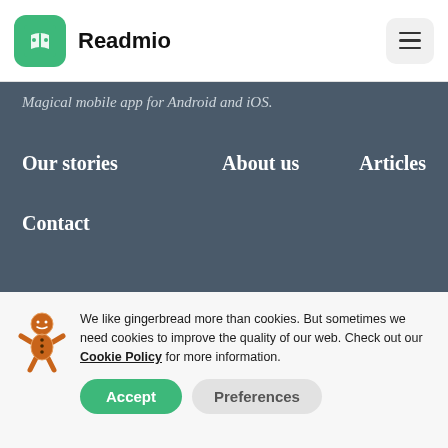Readmio
Magical mobile app for Android and iOS.
Our stories
About us
Articles
Contact
We like gingerbread more than cookies. But sometimes we need cookies to improve the quality of our web. Check out our Cookie Policy for more information.